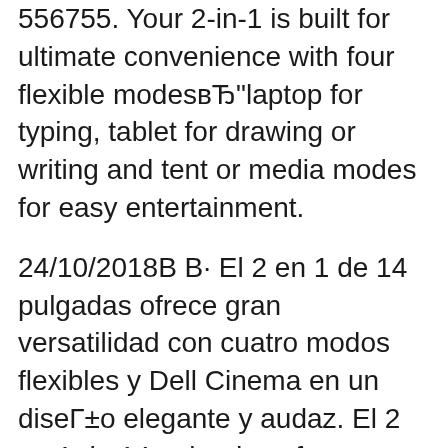556755. Your 2-in-1 is built for ultimate convenience with four flexible modes—laptop for typing, tablet for drawing or writing and tent or media modes for easy entertainment.
24/10/2018В В· El 2 en 1 de 14 pulgadas ofrece gran versatilidad con cuatro modos flexibles y Dell Cinema en un diseГ±o elegante y audaz. El 2 en 1 de 14 pulgadas ofrece gran versatilidad con cuatro modos flexibles y Dell Cinema en un diseГ±o elegante y audaz. Nuevo Inspiron 14 5000 2-in-1 Nuevo Inspiron 14 5000 2-in-1. Shop for dell inspiron 14 5000 2 in 1 at Best Buy. Find low everyday prices and buy online for delivery or in-store pick-up